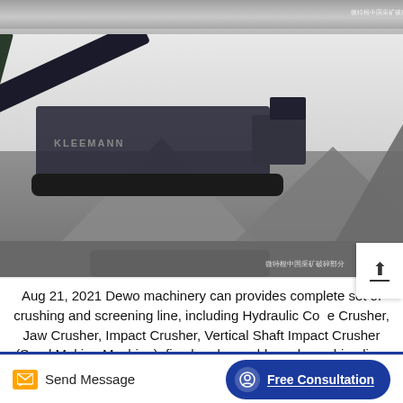[Figure (photo): Top strip image showing a rock crushing/screening site, grayscale with watermark text in Chinese]
[Figure (photo): Main large photo of a Kleemann mobile crushing and screening machine at a quarry/gravel site, with piles of crushed stone, black and white photo with Chinese watermark at bottom right]
Aug 21, 2021 Dewo machinery can provides complete set of crushing and screening line, including Hydraulic Cone Crusher, Jaw Crusher, Impact Crusher, Vertical Shaft Impact Crusher (Sand Making Machine), fixed and movable rock crushing line, also provides turnkey project for cement production line, ore beneficiation, and dry mortar production line.
Send Message
Free Consultation